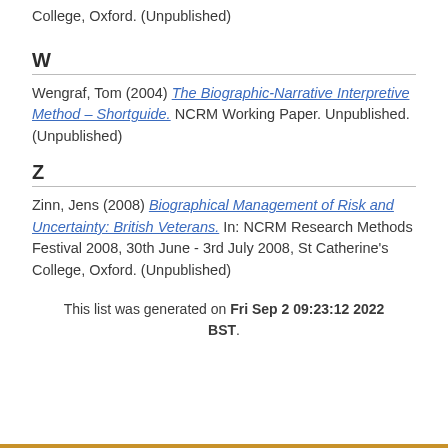Festival 2014, 9th - 10th July 2014, St. Catherine's College, Oxford. (Unpublished)
W
Wengraf, Tom (2004) The Biographic-Narrative Interpretive Method – Shortguide. NCRM Working Paper. Unpublished. (Unpublished)
Z
Zinn, Jens (2008) Biographical Management of Risk and Uncertainty: British Veterans. In: NCRM Research Methods Festival 2008, 30th June - 3rd July 2008, St Catherine's College, Oxford. (Unpublished)
This list was generated on Fri Sep 2 09:23:12 2022 BST.